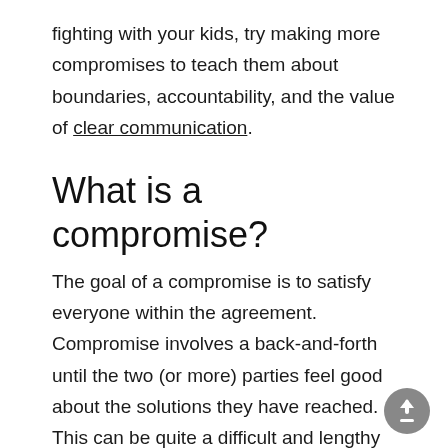fighting with your kids, try making more compromises to teach them about boundaries, accountability, and the value of clear communication.
What is a compromise?
The goal of a compromise is to satisfy everyone within the agreement. Compromise involves a back-and-forth until the two (or more) parties feel good about the solutions they have reached. This can be quite a difficult and lengthy process depending on the matter you're trying to compromise on.